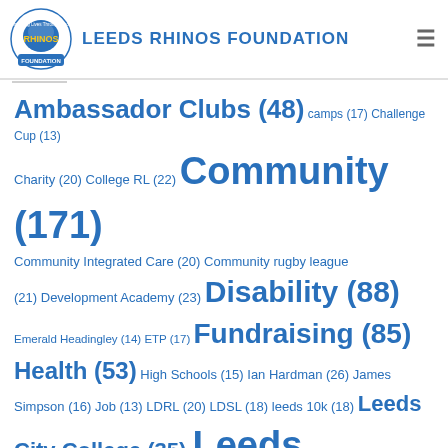LEEDS RHINOS FOUNDATION
Ambassador Clubs (48) camps (17) Challenge Cup (13) Charity (20) College RL (22) Community (171) Community Integrated Care (20) Community rugby league (21) Development Academy (23) Disability (88) Emerald Headingley (14) ETP (17) Fundraising (85) Health (53) High Schools (15) Ian Hardman (26) James Simpson (16) Job (13) LDRL (20) LDSL (18) leeds 10k (18) Leeds City College (35) Leeds Rhinos (244) Leeds Rhinos Wheelchair (28) Leeds Rhinos Women (17) Lois Forsell (17) Mental Health (18) NCS (24) Netball